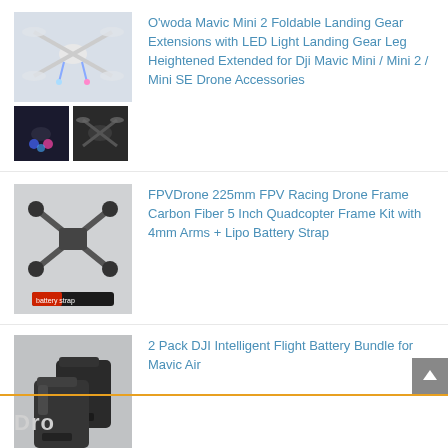[Figure (photo): Drone with LED light landing gear extensions (main image) and two thumbnails showing close-up views]
O'woda Mavic Mini 2 Foldable Landing Gear Extensions with LED Light Landing Gear Leg Heightened Extended for Dji Mavic Mini / Mini 2 / Mini SE Drone Accessories
[Figure (photo): FPV racing drone frame (carbon fiber X-frame) with lipo battery strap below]
FPVDrone 225mm FPV Racing Drone Frame Carbon Fiber 5 Inch Quadcopter Frame Kit with 4mm Arms + Lipo Battery Strap
[Figure (photo): Two DJI Intelligent Flight Batteries for Mavic Air]
2 Pack DJI Intelligent Flight Battery Bundle for Mavic Air